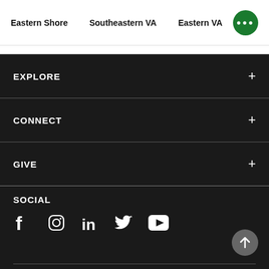Eastern Shore   Southeastern VA   Eastern VA
EXPLORE
CONNECT
GIVE
SOCIAL
[Figure (infographic): Social media icons: Facebook, Instagram, LinkedIn, Twitter, YouTube]